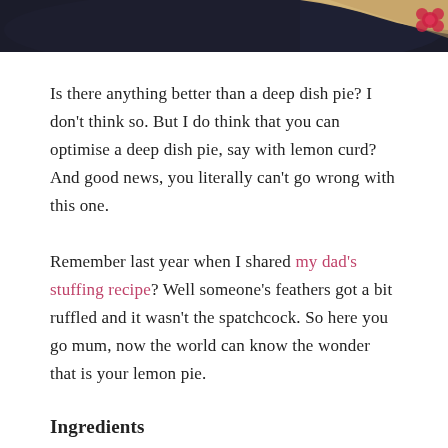[Figure (photo): Top portion of a food photo showing a deep dish pie on a dark plate with a red flower decoration, cropped at the top of the page]
Is there anything better than a deep dish pie? I don't think so. But I do think that you can optimise a deep dish pie, say with lemon curd? And good news, you literally can't go wrong with this one.
Remember last year when I shared my dad's stuffing recipe? Well someone's feathers got a bit ruffled and it wasn't the spatchcock. So here you go mum, now the world can know the wonder that is your lemon pie.
Ingredients
Shortcrust for big pie...